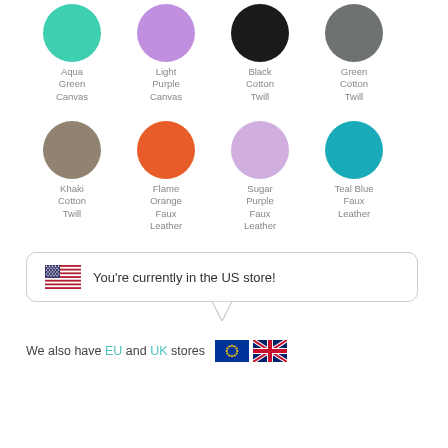[Figure (illustration): Row of four color swatches (circles): Aqua Green Canvas (teal/mint), Light Purple Canvas (lavender), Black Cotton Twill (black), Green Cotton Twill (grey-green)]
[Figure (illustration): Row of four color swatches (circles): Khaki Cotton Twill (tan/khaki), Flame Orange Faux Leather (orange), Sugar Purple Faux Leather (light purple), Teal Blue Faux Leather (teal blue)]
You're currently in the US store!
We also have EU and UK stores